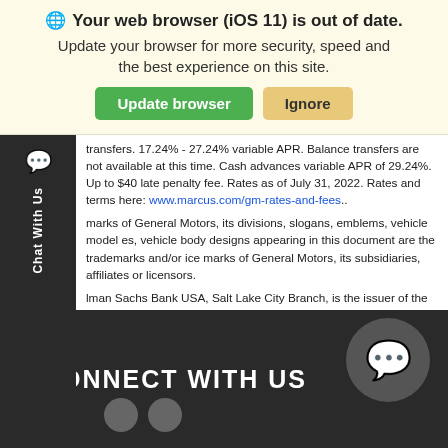[Figure (screenshot): Browser update notification banner with globe icon, bold title 'Your web browser (iOS 11) is out of date.', subtitle text, and two buttons: green 'Update browser' and yellow 'Ignore']
transfers. 17.24% - 27.24% variable APR. Balance transfers are not available at this time. Cash advances variable APR of 29.24%. Up to $40 late penalty fee. Rates as of July 31, 2022. Rates and terms here: www.marcus.com/gm-rates-and-fees..
marks of General Motors, its divisions, slogans, emblems, vehicle model es, vehicle body designs appearing in this document are the trademarks and/or ice marks of General Motors, its subsidiaries, affiliates or licensors.
lman Sachs Bank USA, Salt Lake City Branch, is the issuer of the My GM ards Card. GM is solely responsible for the operation and administration of the ts program. For more details about the General Motors points program, uding redemption options, go to mygmrewardscard.com. Mastercard and the es design are trademarks of Mastercard International Incorporated.
22 General Motors LLC.
CONNECT WITH US